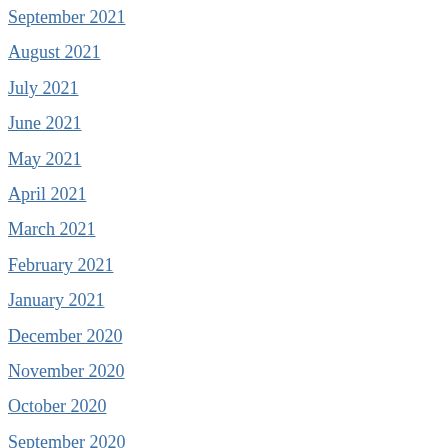September 2021
August 2021
July 2021
June 2021
May 2021
April 2021
March 2021
February 2021
January 2021
December 2020
November 2020
October 2020
September 2020
August 2020
July 2020
June 2020
May 2020
"This is a freakishly awesome blog post. After years I can totally relate to having “steel in y
★  Loading...
Reply
Christopher Ambler, on November 1, 2011 at
“Now it’s possible to build a company, ship p customers in a year with less than $500K.”
... that’s my company, right now, and I actua one of these green VCs and let’s make it ha
★  Loading...
Reply
Cereal Entrepreneur, on November 1, 2011 at
I love it. I would add step 4.5. Make sure the measure. Don’t bring them back on as partr
★  Loading...
Reply
steveblank, on November 2, 2011 at 2